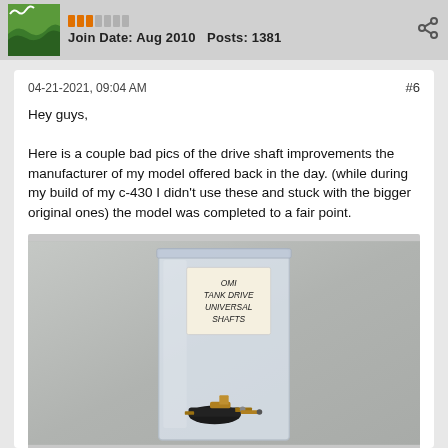Join Date: Aug 2010   Posts: 1381
04-21-2021, 09:04 AM
#6
Hey guys,

Here is a couple bad pics of the drive shaft improvements the manufacturer of my model offered back in the day. (while during my build of my c-430 I didn't use these and stuck with the bigger original ones) the model was completed to a fair point.
[Figure (photo): A small zip-lock plastic bag containing miniature drive shaft universal joint parts, with a handwritten label reading 'OMI TANK DRIVE UNIVERSAL SHAFTS'. The bag sits on a gray surface and contains small brass/metal mechanical components at the bottom.]